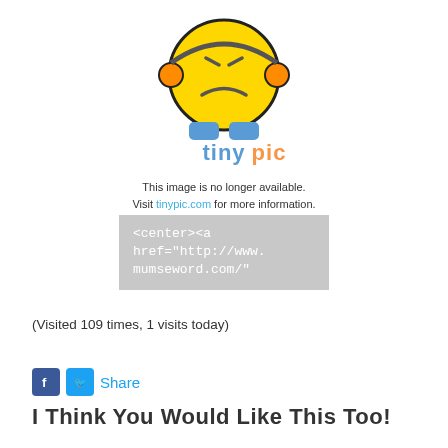[Figure (illustration): TinyPic placeholder image showing a frustrated yellow emoji character with headphones, and the TinyPic logo, with text 'This image is no longer available. Visit tinypic.com for more information.']
[Figure (screenshot): Gray box showing HTML code snippet: <center><a href="http://www.mumseword.com/"]
(Visited 109 times, 1 visits today)
Share
I Think You Would Like This Too!